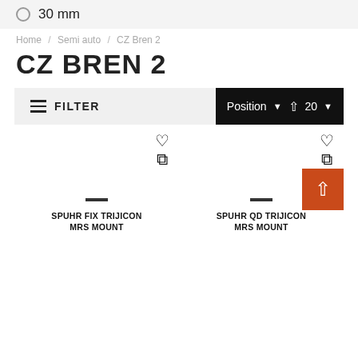30 mm
Home / Semi auto / CZ Bren 2
CZ BREN 2
FILTER | Position ▾ ↑ 20 ▾
[Figure (screenshot): Two product cards each with heart and copy icons, a dash placeholder image, and product name text]
SPUHR FIX TRIJICON MRS MOUNT
SPUHR QD TRIJICON MRS MOUNT